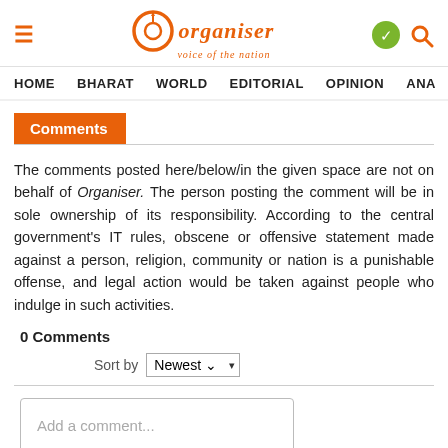Organiser — voice of the nation (navigation: HOME, BHARAT, WORLD, EDITORIAL, OPINION, ANA...)
Comments
The comments posted here/below/in the given space are not on behalf of Organiser. The person posting the comment will be in sole ownership of its responsibility. According to the central government's IT rules, obscene or offensive statement made against a person, religion, community or nation is a punishable offense, and legal action would be taken against people who indulge in such activities.
0 Comments
Sort by Newest
Add a comment...